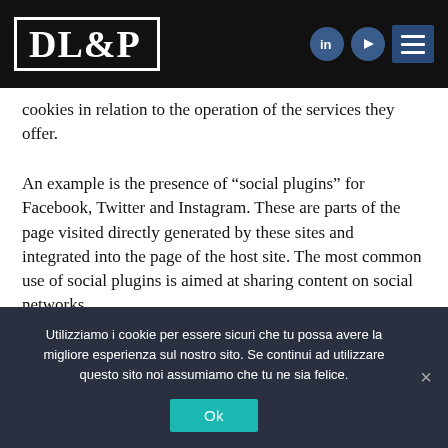DL&P
cookies in relation to the operation of the services they offer.
An example is the presence of “social plugins” for Facebook, Twitter and Instagram. These are parts of the page visited directly generated by these sites and integrated into the page of the host site. The most common use of social plugins is aimed at sharing content on social networks.
Utilizziamo i cookie per essere sicuri che tu possa avere la migliore esperienza sul nostro sito. Se continui ad utilizzare questo sito noi assumiamo che tu ne sia felice.